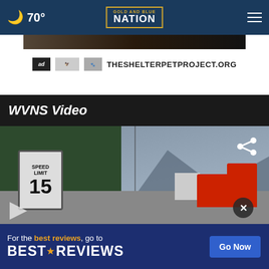🌙 70° Gold and Blue Nation ☰
[Figure (photo): Ad banner showing pet photo and logos for The Shelter Pet Project with text THESHELTERPETPROJECT.ORG]
WVNS Video
[Figure (screenshot): Video thumbnail showing a street scene with a Speed Limit 15 sign, trees, road, red truck and houses in background]
[Figure (other): Advertisement banner reading: For the best reviews, go to BESTREVIEWS with Go Now button]